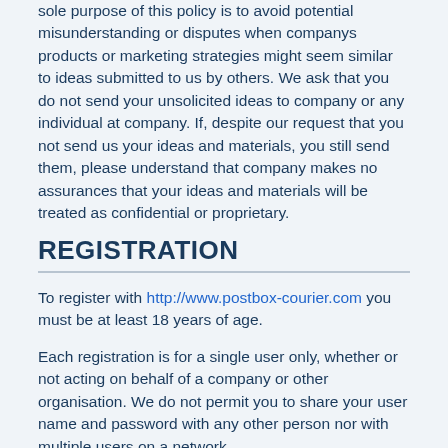sole purpose of this policy is to avoid potential misunderstanding or disputes when companys products or marketing strategies might seem similar to ideas submitted to us by others. We ask that you do not send your unsolicited ideas to company or any individual at company. If, despite our request that you not send us your ideas and materials, you still send them, please understand that company makes no assurances that your ideas and materials will be treated as confidential or proprietary.
REGISTRATION
To register with http://www.postbox-courier.com you must be at least 18 years of age.
Each registration is for a single user only, whether or not acting on behalf of a company or other organisation. We do not permit you to share your user name and password with any other person nor with multiple users on a network.
User must complete the registration process by providing Company with accurate and complete